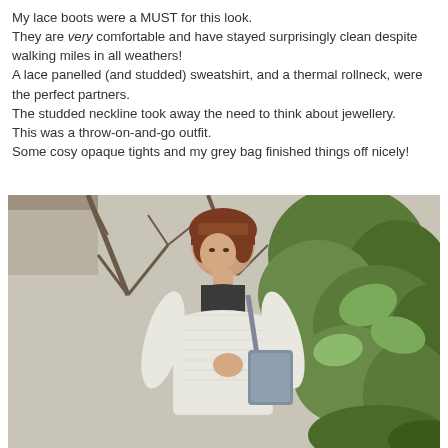My lace boots were a MUST for this look. They are very comfortable and have stayed surprisingly clean despite walking miles in all weathers! A lace panelled (and studded) sweatshirt, and a thermal rollneck, were the perfect partners. The studded neckline took away the need to think about jewellery. This was a throw-on-and-go outfit. Some cosy opaque tights and my grey bag finished things off nicely!
[Figure (photo): A woman with a short reddish-brown bob haircut, wearing a white lace sweatshirt over a dark turtleneck, holding a grey bag, standing outdoors in front of bare tree branches and large green leaves.]